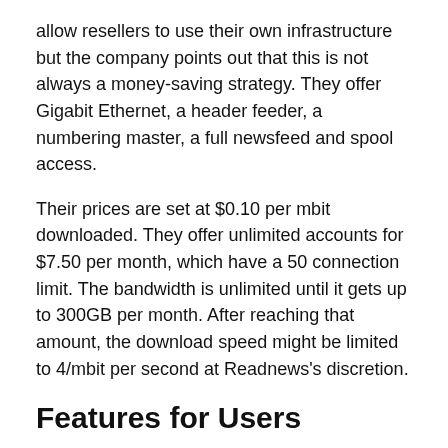allow resellers to use their own infrastructure but the company points out that this is not always a money-saving strategy. They offer Gigabit Ethernet, a header feeder, a numbering master, a full newsfeed and spool access.
Their prices are set at $0.10 per mbit downloaded. They offer unlimited accounts for $7.50 per month, which have a 50 connection limit. The bandwidth is unlimited until it gets up to 300GB per month. After reaching that amount, the download speed might be limited to 4/mbit per second at Readnews's discretion.
Features for Users
Resellers can offer their customers the aforementioned speed and connection limits. The server provides SSL access, so privacy is protected. Readnews offers 2000 days of binary retention. There's also 2000+ days of text retention, keeping it competitive with the other options